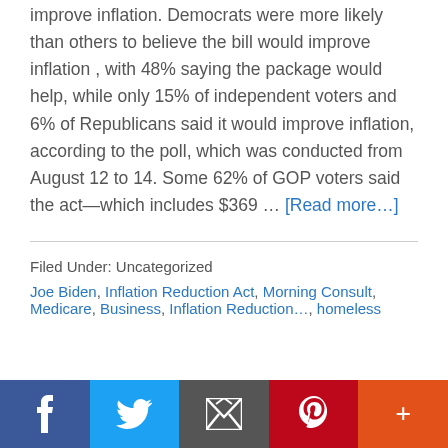improve inflation. Democrats were more likely than others to believe the bill would improve inflation , with 48% saying the package would help, while only 15% of independent voters and 6% of Republicans said it would improve inflation, according to the poll, which was conducted from August 12 to 14. Some 62% of GOP voters said the act—which includes $369 … [Read more…]
Filed Under: Uncategorized
Joe Biden, Inflation Reduction Act, Morning Consult, Medicare, Business, Inflation Reduction…, homeless
[Figure (infographic): Social sharing bar with icons for Facebook, Twitter, Email, Pinterest, and More]